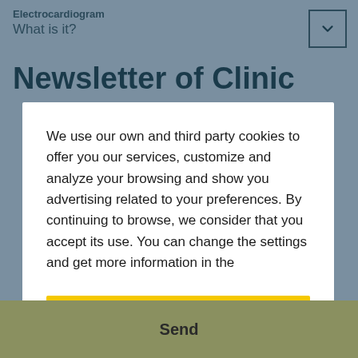Electrocardiogram
What is it?
Newsletter of Clinic
We use our own and third party cookies to offer you our services, customize and analyze your browsing and show you advertising related to your preferences. By continuing to browse, we consider that you accept its use. You can change the settings and get more information in the
Accept cookies
Send